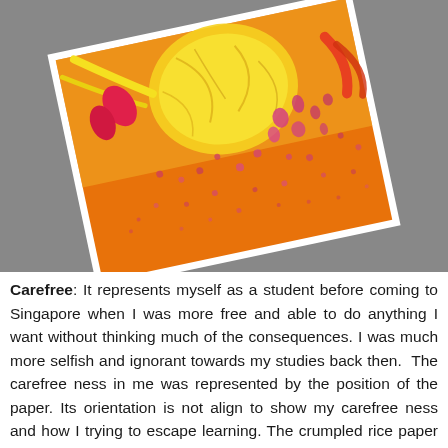[Figure (photo): A photograph of an art piece: an orange/yellow painted paper tilted at an angle on a gray background, with crumpled yellow tissue paper resembling a sun in the upper center, pink and red ribbon decorations, and scattered pink/red paint spots across the lower portion of the orange background paper.]
Carefree: It represents myself as a student before coming to Singapore when I was more free and able to do anything I want without thinking much of the consequences. I was much more selfish and ignorant towards my studies back then. The carefree ness in me was represented by the position of the paper. Its orientation is not align to show my carefree ness and how I trying to escape learning. The crumpled rice paper also represents part of me. The colour